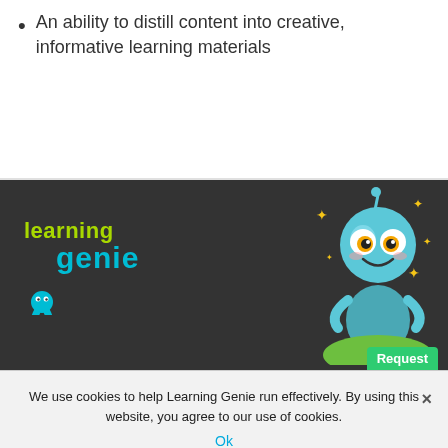An ability to distill content into creative, informative learning materials
[Figure (logo): Learning Genie logo in dark footer area, with a blue cartoon mascot character on the right side]
We use cookies to help Learning Genie run effectively. By using this website, you agree to our use of cookies.
Ok